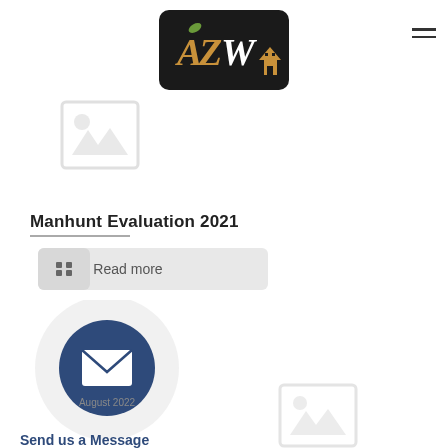[Figure (logo): AZW logo with house and leaf icons on black rounded rectangle background]
[Figure (illustration): Greyed-out placeholder image icon]
Manhunt Evaluation 2021
[Figure (screenshot): Read more button with grid icon on left, grey rounded rectangle]
[Figure (illustration): Email/message circular floating button - dark blue circle with envelope icon inside larger light grey circle, with text August 2022 and Send us a Message below]
[Figure (illustration): Greyed-out placeholder image icon at bottom]